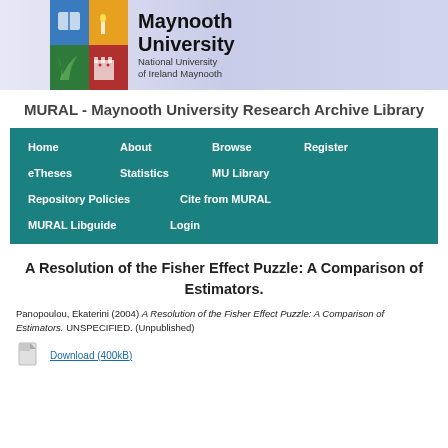[Figure (logo): Maynooth University logo with shield and university name]
MURAL - Maynooth University Research Archive Library
[Figure (screenshot): Navigation bar with links: Home, About, Browse, Register, eTheses, Statistics, MU Library, Repository Policies, Cite from MURAL, MURAL Libguide, Login]
A Resolution of the Fisher Effect Puzzle: A Comparison of Estimators.
Panopoulou, Ekaterini (2004) A Resolution of the Fisher Effect Puzzle: A Comparison of Estimators. UNSPECIFIED. (Unpublished)
Download (400kB)